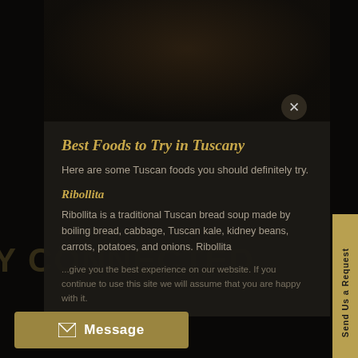[Figure (screenshot): Screenshot of a website with a modal popup overlay. The background shows text 'Y CONNECTED' and newsletter sign-up content in gold on dark background. A modal dialog in the center shows 'Best Foods to Try in Tuscany' article with a dark food photo at top, a close (X) button, article title in italic gold text, body text about Ribollita (Tuscan bread soup), and cookie consent text. A gold 'Message' button appears at bottom left. A vertical gold sidebar tab reading 'Send Us a Request' appears on the right edge.]
Best Foods to Try in Tuscany
Here are some Tuscan foods you should definitely try.
Ribollita
Ribollita is a traditional Tuscan bread soup made by boiling bread, cabbage, Tuscan kale, kidney beans, carrots, potatoes, and onions. Ribollita
...give you the best experience on our website. If you continue to use this site we will assume that you are happy with it.
Y CONNECTED
Sign up for our exclusive itinerary announcements, new luxury villas, travel inspiration and expert tips.
Message